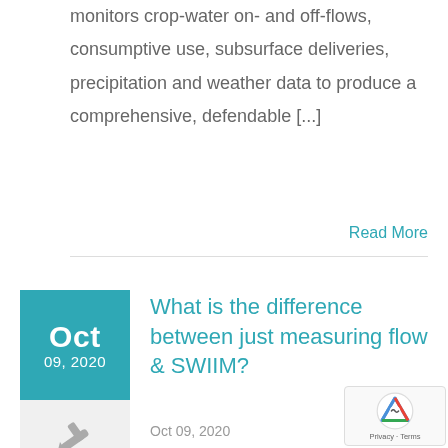monitors crop-water on- and off-flows, consumptive use, subsurface deliveries, precipitation and weather data to produce a comprehensive, defendable [...]
Read More
What is the difference between just measuring flow & SWIIM?
Oct 09, 2020